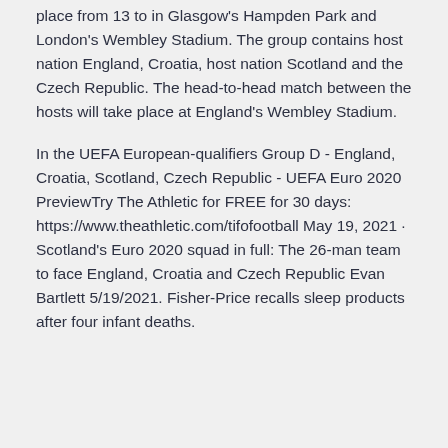place from 13 to in Glasgow's Hampden Park and London's Wembley Stadium. The group contains host nation England, Croatia, host nation Scotland and the Czech Republic. The head-to-head match between the hosts will take place at England's Wembley Stadium.
In the UEFA European-qualifiers Group D - England, Croatia, Scotland, Czech Republic - UEFA Euro 2020 PreviewTry The Athletic for FREE for 30 days: https://www.theathletic.com/tifofootball May 19, 2021 · Scotland's Euro 2020 squad in full: The 26-man team to face England, Croatia and Czech Republic Evan Bartlett 5/19/2021. Fisher-Price recalls sleep products after four infant deaths.